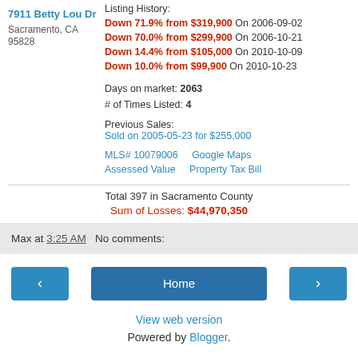7911 Betty Lou Dr
Sacramento, CA 95828
Listing History:
Down 71.9% from $319,900 On 2006-09-02
Down 70.0% from $299,900 On 2006-10-21
Down 14.4% from $105,000 On 2010-10-09
Down 10.0% from $99,900 On 2010-10-23
Days on market: 2063
# of Times Listed: 4
Previous Sales:
Sold on 2005-05-23 for $255,000
MLS# 10079006    Google Maps
Assessed Value    Property Tax Bill
Total 397 in Sacramento County
Sum of Losses: $44,970,350
Max at 3:25 AM    No comments:
‹    Home    ›
View web version
Powered by Blogger.